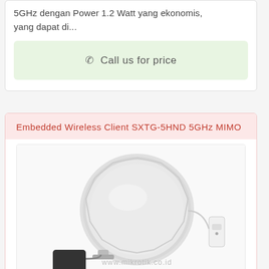5GHz dengan Power 1.2 Watt yang ekonomis, yang dapat di...
Call us for price
Embedded Wireless Client SXTG-5HND 5GHz MIMO
[Figure (photo): Product photo of Embedded Wireless Client SXTG-5HND 5GHz MIMO device - a round white wireless antenna unit with power adapter and ethernet adapter, watermark www.mikrotik.co.id]